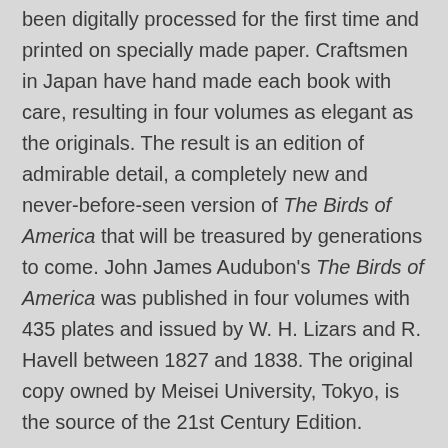America using an 80 megapixel camera. The images have been digitally processed for the first time and printed on specially made paper. Craftsmen in Japan have hand made each book with care, resulting in four volumes as elegant as the originals. The result is an edition of admirable detail, a completely new and never-before-seen version of The Birds of America that will be treasured by generations to come. John James Audubon's The Birds of America was published in four volumes with 435 plates and issued by W. H. Lizars and R. Havell between 1827 and 1838. The original copy owned by Meisei University, Tokyo, is the source of the 21st Century Edition.
21st Century Edition